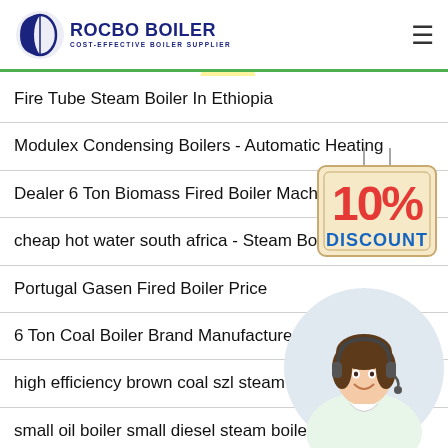ROCBO BOILER - COST-EFFECTIVE BOILER SUPPLIER
Fire Tube Steam Boiler In Ethiopia
Modulex Condensing Boilers - Automatic Heating
Dealer 6 Ton Biomass Fired Boiler Machine
cheap hot water south africa - Steam Boile...
Portugal Gasen Fired Boiler Price
6 Ton Coal Boiler Brand Manufacturers Co...
high efficiency brown coal szl steam boi...
small oil boiler small diesel steam boiler
[Figure (illustration): 10% Discount sign hanging on string with beige/tan background]
[Figure (photo): Female customer service representative with headset, smiling]